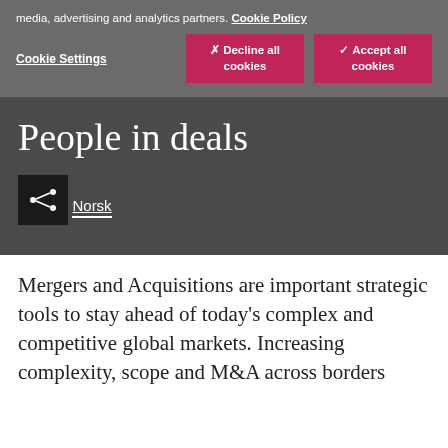media, advertising and analytics partners. Cookie Policy
Cookie Settings | ✗ Decline all cookies | ✓ Accept all cookies
People in deals
Norsk
Mergers and Acquisitions are important strategic tools to stay ahead of today's complex and competitive global markets. Increasing complexity, scope and M&A across borders